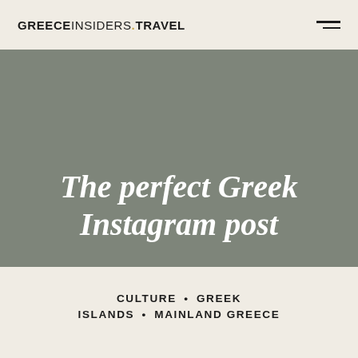GREECEINSIDERS.TRAVEL
[Figure (photo): Gray-toned hero image background with overlaid white italic serif text reading 'The perfect Greek Instagram post']
The perfect Greek Instagram post
CULTURE • GREEK ISLANDS • MAINLAND GREECE